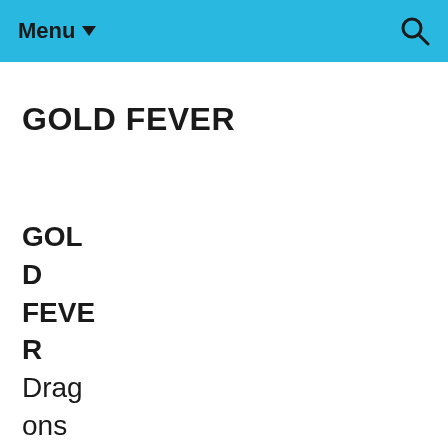Menu ▼
GOLD FEVER
GOLD FEVER Dragons of Tarakona #6